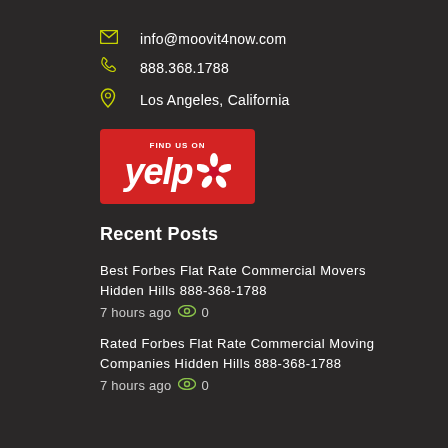info@moovit4now.com
888.368.1788
Los Angeles, California
[Figure (logo): Find us on Yelp badge - red background with white Yelp text and burst logo]
Recent Posts
Best Forbes Flat Rate Commercial Movers Hidden Hills 888-368-1788
7 hours ago  0
Rated Forbes Flat Rate Commercial Moving Companies Hidden Hills 888-368-1788
7 hours ago  0